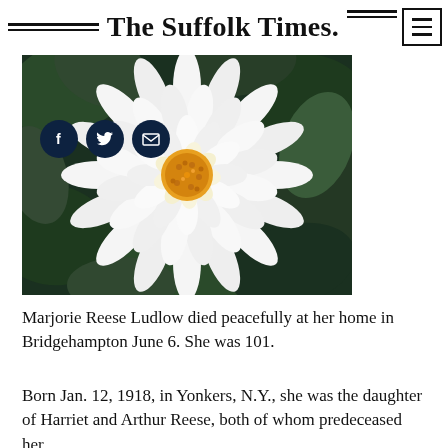The Suffolk Times.
[Figure (photo): Close-up photo of a white dahlia flower with an orange-yellow center, surrounded by dark green foliage in the background. Three social media icons (Facebook, Twitter, email) appear as dark circular buttons overlaid on the lower-left of the image.]
Marjorie Reese Ludlow died peacefully at her home in Bridgehampton June 6. She was 101.
Born Jan. 12, 1918, in Yonkers, N.Y., she was the daughter of Harriet and Arthur Reese, both of whom predeceased her.